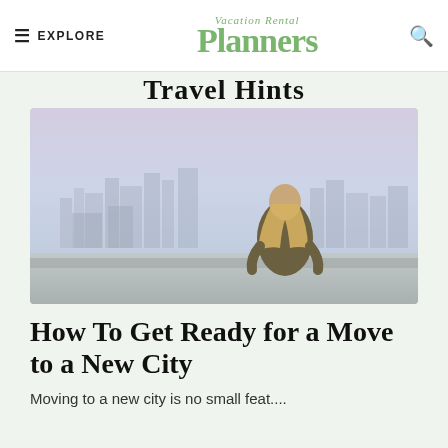EXPLORE | Vacation Rental Planners | [search]
Travel Hints
[Figure (photo): Woman with long blonde hair sitting on a stone wall overlooking a hazy city skyline, viewed from behind]
How To Get Ready for a Move to a New City
Moving to a new city is no small feat....